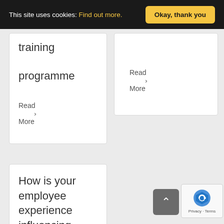This site uses cookies: Find out more. Okay, thank you
training programme
Read More ›
Read More ›
How is your employee experience influencing your
Privacy · Terms